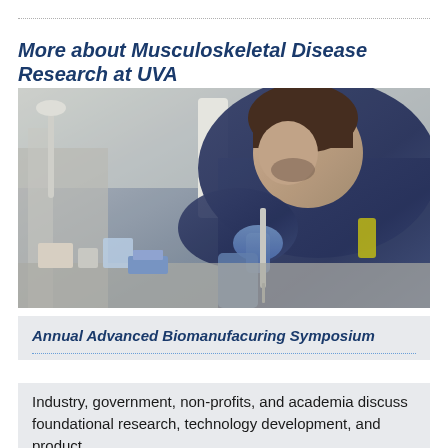More about Musculoskeletal Disease Research at UVA
[Figure (photo): A researcher in a blue shirt and blue gloves bending over a laboratory bench using a pipette, with lab equipment visible in the background.]
Annual Advanced Biomanufacuring Symposium
Industry, government, non-profits, and academia discuss foundational research, technology development, and product